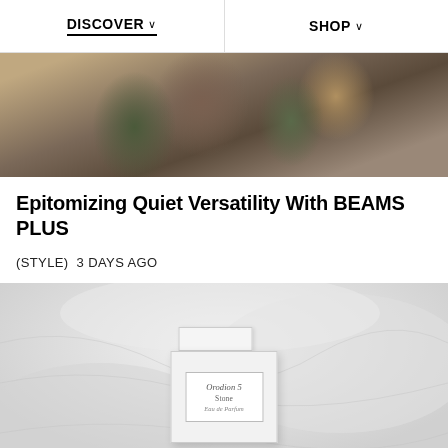DISCOVER   SHOP
[Figure (photo): Person wearing camouflage and patchwork jacket, fashion editorial photo cropped at torso]
Epitomizing Quiet Versatility With BEAMS PLUS
(STYLE)  3 DAYS AGO
[Figure (photo): White perfume bottle box labeled Orodion 5, Stone, Eau de Parfum on a light gray fabric background]